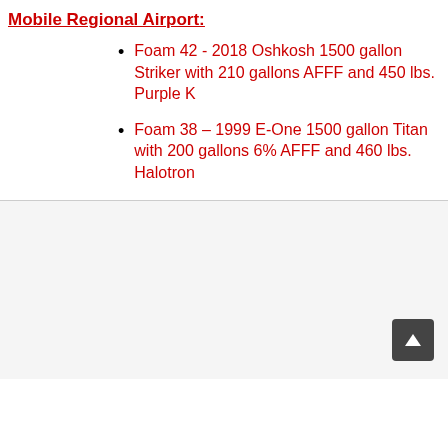Mobile Regional Airport:
Foam 42 - 2018 Oshkosh 1500 gallon Striker with 210 gallons AFFF and 450 lbs. Purple K
Foam 38 – 1999 E-One 1500 gallon Titan with 200 gallons 6% AFFF and 460 lbs. Halotron